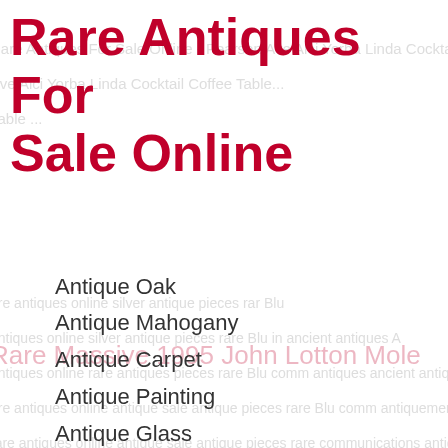Rare Antiques For Sale Online
Antique Oak
Antique Mahogany
Antique Carpet
Antique Painting
Antique Glass
Antique Plate
flora Art Glass Vase
This Massive John Lotton Art Glass Vase Is A Vivid Example Of One